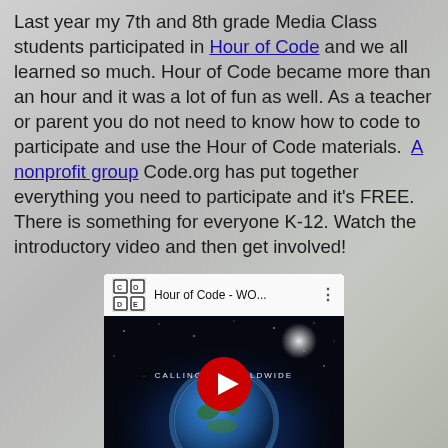Last year my 7th and 8th grade Media Class students participated in Hour of Code and we all learned so much. Hour of Code became more than an hour and it was a lot of fun as well. As a teacher or parent you do not need to know how to code to participate and use the Hour of Code materials.  A nonprofit group Code.org has put together everything you need to participate and it's FREE. There is something for everyone K-12. Watch the introductory video and then get involved!
[Figure (screenshot): YouTube video thumbnail for 'Hour of Code - WO...' showing Earth from space with a red play button in the center and text 'CALLING AL... WORLDWIDE' at the bottom]